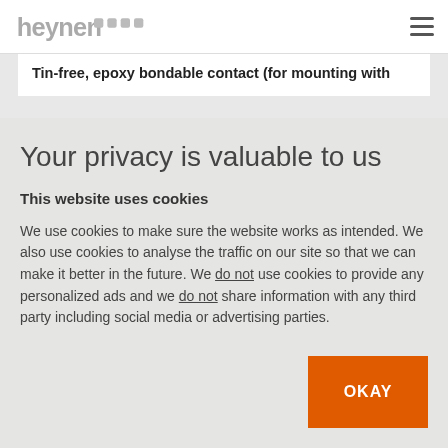heynen [logo]
Tin-free, epoxy bondable contact (for mounting with
Your privacy is valuable to us
This website uses cookies
We use cookies to make sure the website works as intended. We also use cookies to analyse the traffic on our site so that we can make it better in the future. We do not use cookies to provide any personalized ads and we do not share information with any third party including social media or advertising parties.
OKAY